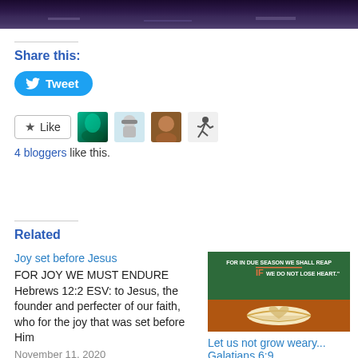[Figure (photo): Dark purple/blue night sky or water reflection photo banner at top of page]
Share this:
[Figure (screenshot): Tweet button (blue pill-shaped button with Twitter bird icon and 'Tweet' text)]
[Figure (screenshot): Like button with star icon, followed by 4 blogger avatar thumbnails]
4 bloggers like this.
Related
Joy set before Jesus
FOR JOY WE MUST ENDURE Hebrews 12:2 ESV: to Jesus, the founder and perfecter of our faith, who for the joy that was set before Him
November 11, 2020
In "Devotional"
[Figure (photo): Green background image with text 'FOR IN DUE SEASON WE SHALL REAP IF WE DO NOT LOSE HEART.' and an open book with pages folded into a heart shape]
Let us not grow weary... Galatians 6:9
August 30, 2022
In "memes"